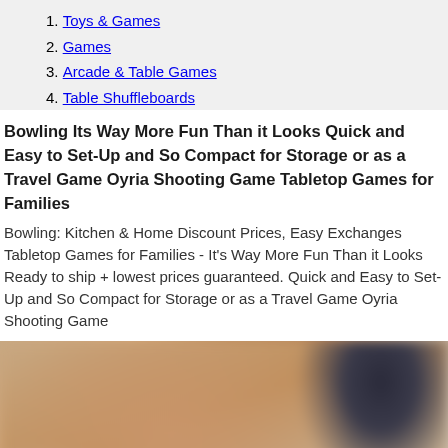1. Toys & Games
2. Games
3. Arcade & Table Games
4. Table Shuffleboards
Bowling Its Way More Fun Than it Looks Quick and Easy to Set-Up and So Compact for Storage or as a Travel Game Oyria Shooting Game Tabletop Games for Families
Bowling: Kitchen & Home Discount Prices, Easy Exchanges Tabletop Games for Families - It's Way More Fun Than it Looks Ready to ship + lowest prices guaranteed. Quick and Easy to Set-Up and So Compact for Storage or as a Travel Game Oyria Shooting Game
[Figure (photo): Close-up blurred photo of what appears to be a bowling ball or rounded object in warm brown/tan tones, with dark background in upper right corner]